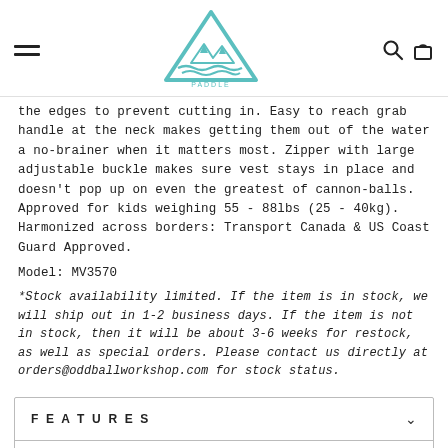Paddle Vancouver
the edges to prevent cutting in. Easy to reach grab handle at the neck makes getting them out of the water a no-brainer when it matters most. Zipper with large adjustable buckle makes sure vest stays in place and doesn't pop up on even the greatest of cannonballs. Approved for kids weighing 55 - 88lbs (25 - 40kg). Harmonized across borders: Transport Canada & US Coast Guard Approved.
Model: MV3570
*Stock availability limited.  If the item is in stock, we will ship out in 1-2 business days.  If the item is not in stock, then it will be about 3-6 weeks for restock, as well as special orders.  Please contact us directly at orders@oddballworkshop.com for stock status.
FEATURES
SIZE CHART
WARRANTY